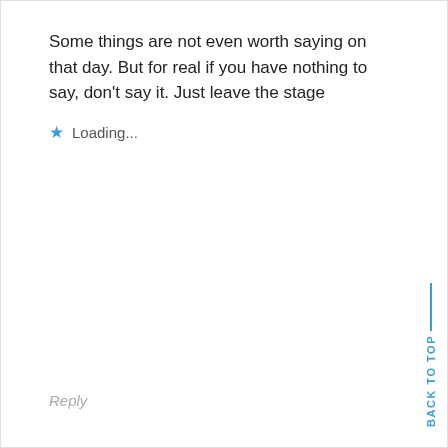Some things are not even worth saying on that day. But for real if you have nothing to say, don’t say it. Just leave the stage
★ Loading...
Reply
BACK TO TOP